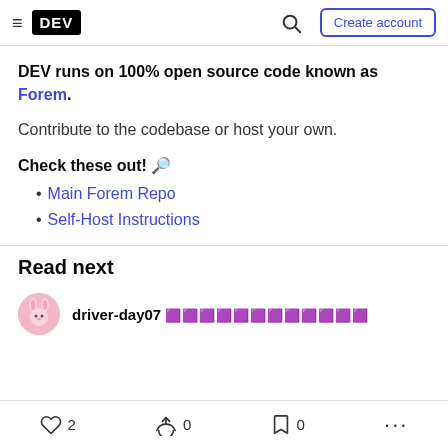DEV logo navigation bar with hamburger menu, search icon, and Create account button
DEV runs on 100% open source code known as Forem.
Contribute to the codebase or host your own.
Check these out! 🔎
Main Forem Repo
Self-Host Instructions
Read next
driver-day07 🟪🟪🟪🟪🟪🟪🟪🟪🟪🟪🟪🟪
♡ 2  🔥 0  🔖 0  ...